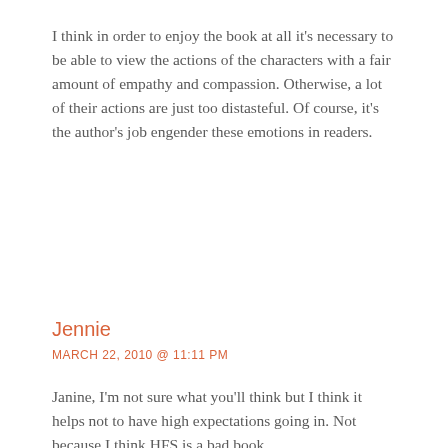I think in order to enjoy the book at all it's necessary to be able to view the actions of the characters with a fair amount of empathy and compassion. Otherwise, a lot of their actions are just too distasteful. Of course, it's the author's job engender these emotions in readers.
Jennie
MARCH 22, 2010 @ 11:11 PM
Janine, I'm not sure what you'll think but I think it helps not to have high expectations going in. Not because I think HFS is a bad book